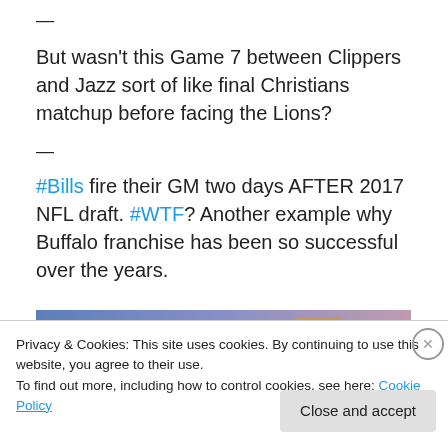—
But wasn't this Game 7 between Clippers and Jazz sort of like final Christians matchup before facing the Lions?
—
#Bills fire their GM two days AFTER 2017 NFL draft. #WTF? Another example why Buffalo franchise has been so successful over the years.
[Figure (photo): Partial view of a blue-to-purple gradient image with a small brownish/orange element visible in the upper right area.]
Privacy & Cookies: This site uses cookies. By continuing to use this website, you agree to their use.
To find out more, including how to control cookies, see here: Cookie Policy